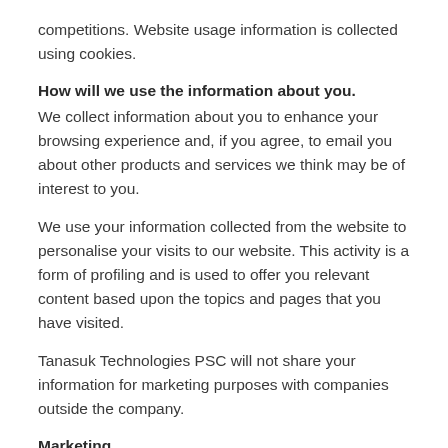competitions. Website usage information is collected using cookies.
How will we use the information about you.
We collect information about you to enhance your browsing experience and, if you agree, to email you about other products and services we think may be of interest to you.
We use your information collected from the website to personalise your visits to our website. This activity is a form of profiling and is used to offer you relevant content based upon the topics and pages that you have visited.
Tanasuk Technologies PSC will not share your information for marketing purposes with companies outside the company.
Marketing